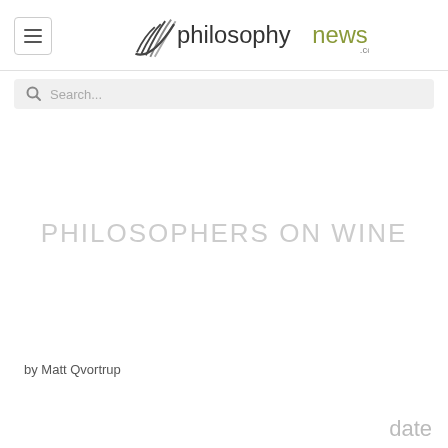philosophynews.com
PHILOSOPHERS ON WINE
by Matt Qvortrup